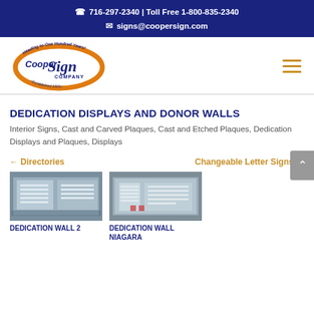716-297-2340 | Toll Free 1-800-835-2340  signs@coopersign.com
[Figure (logo): Cooper Sign Company logo — oval orange ring with blue 'Cooper Sign Company' text, 'Heading to One Hundred Years!' arc at top, 'Established 1925' at bottom]
DEDICATION DISPLAYS AND DONOR WALLS
Interior Signs, Cast and Carved Plaques, Cast and Etched Plaques, Dedication Displays and Plaques, Displays
← Directories
Changeable Letter Signs →
[Figure (photo): Dedication Wall 2 — interior sign display photo]
DEDICATION WALL 2
[Figure (photo): Dedication Wall Niagara — interior sign display photo]
DEDICATION WALL NIAGARA